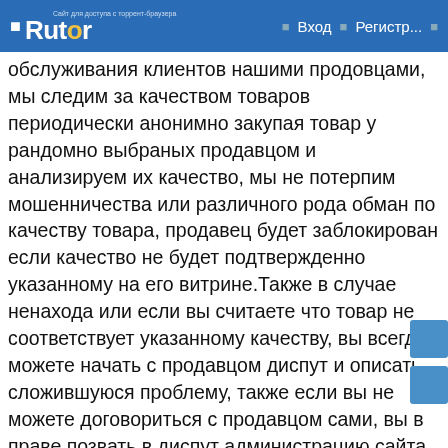Rutor | Вход | Регистр...
обслуживания клиентов нашими продовцами, мы следим за качеством товаров периодически анонимно закупая товар у рандомно выбраных продавцом и анализируем их качество, мы не потерпим мошенничества или различного рода обман по качеству товара, продавец будет заблокирован если качество не будет подтвержденно указанному на его витрине.Также в случае ненахода или если вы считаете что товар не соответствует указанному качеству, вы всегда можете начать с продавцом диспут и описать сложившуюся проблему, также если вы не можете договориться с продавцом сами, вы в праве позвать в диспут администрацию сайта ОМГ, который объективно разрешит ваш спор, после чего продавец сделает перезаклад и вернет вам потраченные деньги за товар.
Обычно закладки делаются людьми знающими своё дело так чтобы менты не смогли случайно отыскать клад, мы стараемся поддерживать качество и у нас это пока получается.Наш сайт обеспечивает вам полностью анонимные покупки, вам не о чем беспокоиться, вы всегда